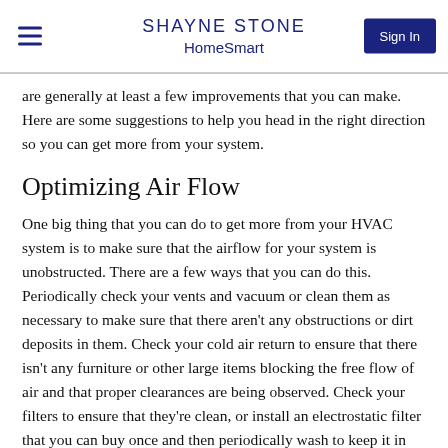SHAYNE STONE HomeSmart Sign In
are generally at least a few improvements that you can make. Here are some suggestions to help you head in the right direction so you can get more from your system.
Optimizing Air Flow
One big thing that you can do to get more from your HVAC system is to make sure that the airflow for your system is unobstructed. There are a few ways that you can do this. Periodically check your vents and vacuum or clean them as necessary to make sure that there aren't any obstructions or dirt deposits in them. Check your cold air return to ensure that there isn't any furniture or other large items blocking the free flow of air and that proper clearances are being observed. Check your filters to ensure that they're clean, or install an electrostatic filter that you can buy once and then periodically wash to keep it in peak operating condition.